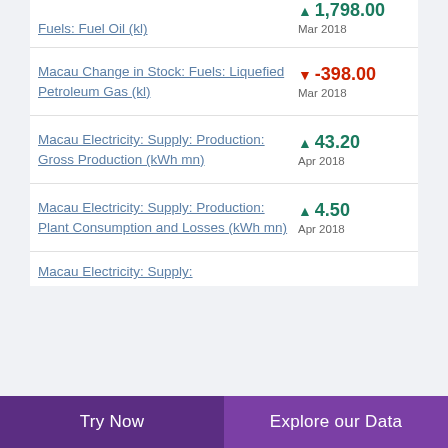Fuels: Fuel Oil (kl) ▲ 1,798.00 Mar 2018
Macau Change in Stock: Fuels: Liquefied Petroleum Gas (kl) ▼ -398.00 Mar 2018
Macau Electricity: Supply: Production: Gross Production (kWh mn) ▲ 43.20 Apr 2018
Macau Electricity: Supply: Production: Plant Consumption and Losses (kWh mn) ▲ 4.50 Apr 2018
Macau Electricity: Supply: (partial)
Try Now   Explore our Data